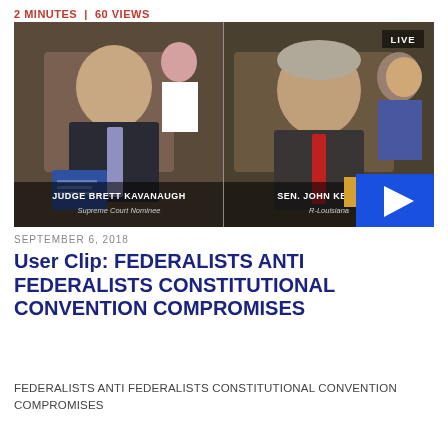2 MINUTES | 60 VIEWS
[Figure (photo): Split-screen C-SPAN video still showing Judge Brett Kavanaugh (Supreme Court Nominee) on the left and Sen. John Kennedy (R-Louisiana) on the right, with a play button overlay in the lower right corner.]
SEPTEMBER 6, 2018
User Clip: FEDERALISTS ANTI FEDERALISTS CONSTITUTIONAL CONVENTION COMPROMISES
FEDERALISTS ANTI FEDERALISTS CONSTITUTIONAL CONVENTION COMPROMISES